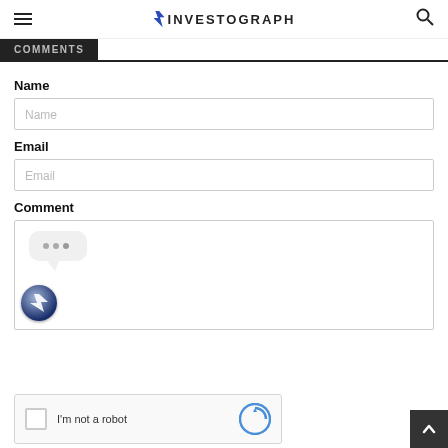INVESTOGRAPH
COMMENTS
Name
Name (input placeholder)
Email
Email (input placeholder)
Comment
[Figure (illustration): Comment text area with typing indicator bubble showing three dots, and an Investograph avatar circle below it]
[Figure (illustration): reCAPTCHA widget with checkbox and 'I'm not a robot' text and reCAPTCHA logo]